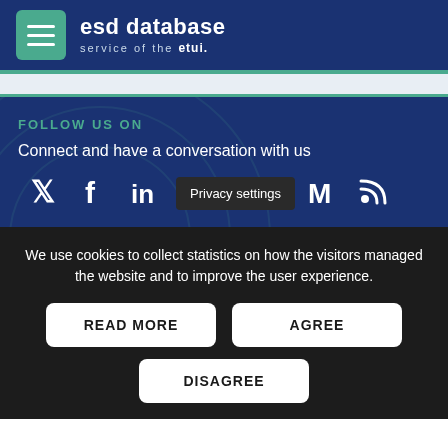esd database — service of the etui.
FOLLOW US ON
Connect and have a conversation with us
[Figure (infographic): Social media icons row: Twitter, Facebook, LinkedIn, Privacy settings button, Medium, RSS]
We use cookies to collect statistics on how the visitors managed the website and to improve the user experience.
READ MORE   AGREE   DISAGREE